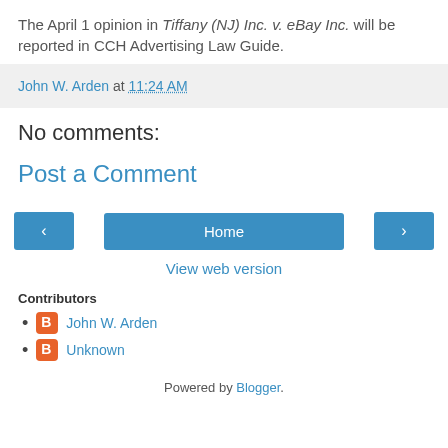The April 1 opinion in Tiffany (NJ) Inc. v. eBay Inc. will be reported in CCH Advertising Law Guide.
John W. Arden at 11:24 AM
No comments:
Post a Comment
Home
View web version
Contributors
John W. Arden
Unknown
Powered by Blogger.